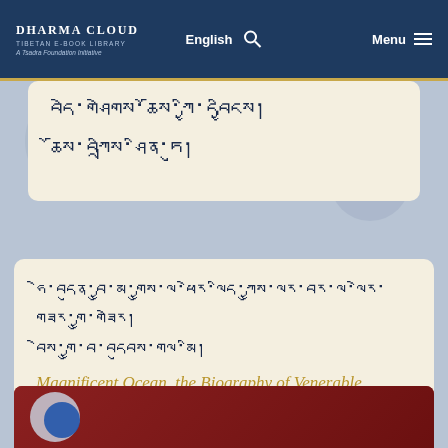Dharma Cloud Tibetan E-Book Library A Tsadra Foundation Initiative | English | Menu
བདེ་གཤེགས་ཆོས་ཀྱི་དབྱིངས།
ཆོས་བཀྲིས་ཤིན་ཏུ།
ཧེ་བདུན་བྱུ་མ་གྱུས་ལ་ཕེར་ལིད་ཀྱུས་ལར་བར་ལ་ལེར་གཟར་གྱུ་གཟེར། བེས་གྱུ་བ་བདུབས་གལ་མི།
Magnificent Ocean, the Biography of Venerable Guru the Great Müpa
[Figure (photo): Red book cover with decorative elements, partially visible at bottom of page]